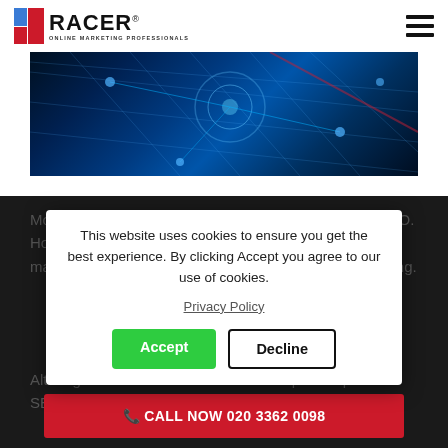[Figure (logo): RACER Online Marketing Professionals logo with blue and red square icon on the left]
[Figure (photo): Dark blue technology/networking themed hero image with glowing grid lines and circular elements]
Most people know that links are an important part of SEO. However, there are a lot of factors that have changed, making both on-page and off-page SEO extra challenging.
This website uses cookies to ensure you get the best experience. By clicking Accept you agree to our use of cookies.
Privacy Policy
Accept
Decline
Although links continue to remain an important part of SEO, more isn't always
📞 CALL NOW 020 3362 0098